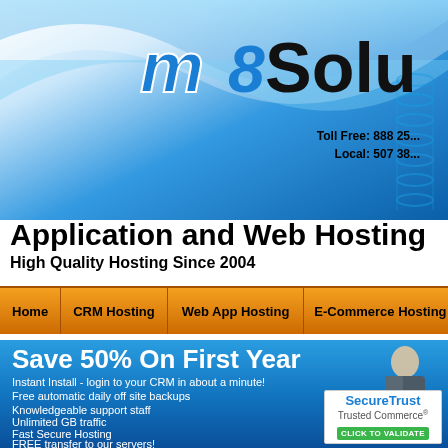[Figure (logo): m8 Solutions company logo with blue stylized lettering on a blue swoosh background header]
Toll Free: 888 25...
Local: 507 38...
Application and Web Hosting
High Quality Hosting Since 2004
Home | CRM Hosting | Web App Hosting | E-Commerce Hosting | Doma...
Save 50% On First Year
Instant Install -  login to your CRM in about a minute!
Free automatic daily off site backups
Knowledgeable support staff
Unlimited GB traffic
Fast Secure Hosting
FREE transfer to our servers!
[Figure (logo): SecureTrust Trusted Commerce CLICK TO VALIDATE badge]